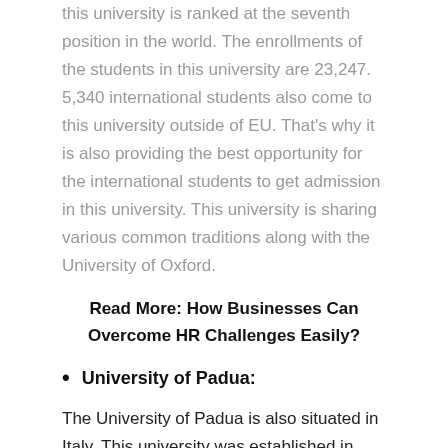this university is ranked at the seventh position in the world. The enrollments of the students in this university are 23,247. 5,340 international students also come to this university outside of EU. That's why it is also providing the best opportunity for the international students to get admission in this university. This university is sharing various common traditions along with the University of Oxford.
Read More: How Businesses Can Overcome HR Challenges Easily?
University of Padua:
The University of Padua is also situated in Italy. This university was established in 1222. It was established in 1222 but it is still competing with the modern universities in the world. It is one of the best